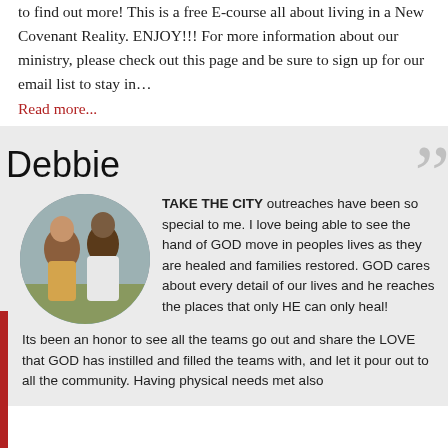to find out more! This is a free E-course all about living in a New Covenant Reality. ENJOY!!! For more information about our ministry, please check out this page and be sure to sign up for our email list to stay in…
Read more...
Debbie
[Figure (photo): Circular cropped photo of two people outdoors near a brick wall]
TAKE THE CITY outreaches have been so special to me. I love being able to see the hand of GOD move in peoples lives as they are healed and families restored. GOD cares about every detail of our lives and he reaches the places that only HE can only heal! Its been an honor to see all the teams go out and share the LOVE that GOD has instilled and filled the teams with, and let it pour out to all the community. Having physical needs met also